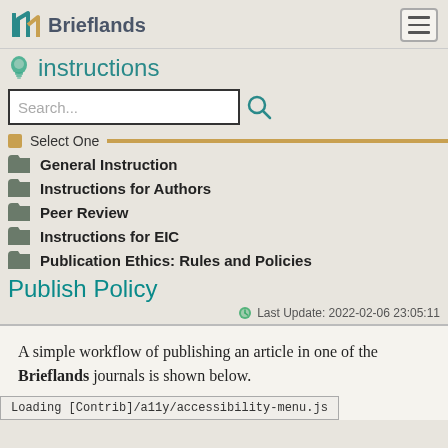Brieflands
instructions
Search...
Select One
General Instruction
Instructions for Authors
Peer Review
Instructions for EIC
Publication Ethics: Rules and Policies
Publish Policy
Last Update: 2022-02-06 23:05:11
A simple workflow of publishing an article in one of the Brieflands journals is shown below.
Loading [Contrib]/a11y/accessibility-menu.js